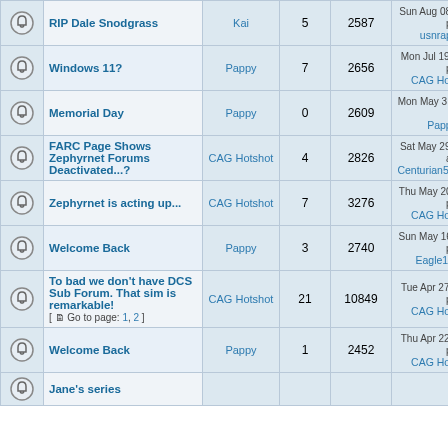|  | Topic | Author | Replies | Views | Last Post |
| --- | --- | --- | --- | --- | --- |
| [icon] | RIP Dale Snodgrass | Kai | 5 | 2587 | Sun Aug 08, 2021 22:58 pm
usnraptor → |
| [icon] | Windows 11? | Pappy | 7 | 2656 | Mon Jul 19, 2021 21:06 pm
CAG Hotshot → |
| [icon] | Memorial Day | Pappy | 0 | 2609 | Mon May 31, 2021 11:24 a
Pappy → |
| [icon] | FARC Page Shows Zephyrnet Forums Deactivated...? | CAG Hotshot | 4 | 2826 | Sat May 29, 2021 11:17 am
Centurian57_369th → |
| [icon] | Zephyrnet is acting up... | CAG Hotshot | 7 | 3276 | Thu May 20, 2021 23:48 pm
CAG Hotshot → |
| [icon] | Welcome Back | Pappy | 3 | 2740 | Sun May 16, 2021 18:52 pm
Eagle114th → |
| [icon] | To bad we don't have DCS Sub Forum. That sim is remarkable!
[ Go to page: 1, 2 ] | CAG Hotshot | 21 | 10849 | Tue Apr 27, 2021 22:22 pm
CAG Hotshot → |
| [icon] | Welcome Back | Pappy | 1 | 2452 | Thu Apr 22, 2021 21:38 pm
CAG Hotshot → |
| [icon] | Jane's series |  |  |  |  |